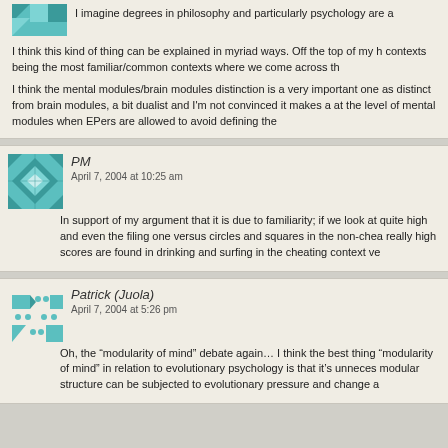I imagine degrees in philosophy and particularly psychology are a
I think this kind of thing can be explained in myriad ways. Off the top of my h contexts being the most familiar/common contexts where we come across th
I think the mental modules/brain modules distinction is a very important one as distinct from brain modules, a bit dualist and I'm not convinced it makes a at the level of mental modules when EPers are allowed to avoid defining the
PM
April 7, 2004 at 10:25 am
In support of my argument that it is due to familiarity; if we look at quite high and even the filing one versus circles and squares in the non-chea really high scores are found in drinking and surfing in the cheating context ve
Patrick (Juola)
April 7, 2004 at 5:26 pm
Oh, the “modularity of mind” debate again… I think the best thing “modularity of mind” in relation to evolutionary psychology is that it’s unneces modular structure can be subjected to evolutionary pressure and change a